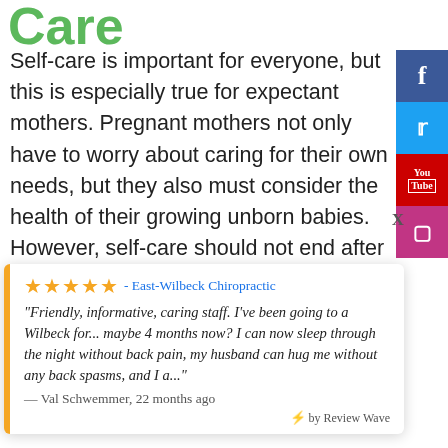Care
Self-care is important for everyone, but this is especially true for expectant mothers. Pregnant mothers not only have to worry about caring for their own needs, but they also must consider the health of their growing unborn babies. However, self-care should not end after your baby is born. Let the staff at
[Figure (infographic): Social media sidebar with Facebook, Twitter, YouTube, and Instagram icons]
★★★★★ - East-Wilbeck Chiropractic
"Friendly, informative, caring staff. I've been going to a Wilbeck for... maybe 4 months now? I can now sleep through the night without back pain, my husband can hug me without any back spasms, and I a..."
— Val Schwemmer, 22 months ago
⚡ by Review Wave